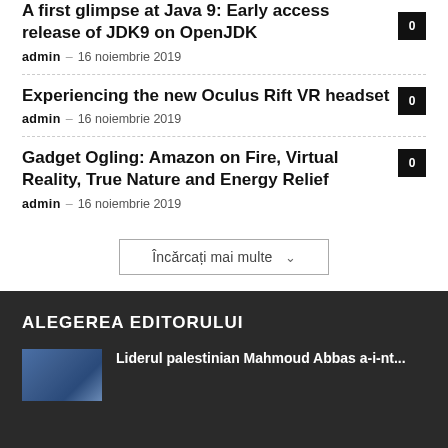A first glimpse at Java 9: Early access release of JDK9 on OpenJDK
admin – 16 noiembrie 2019
Experiencing the new Oculus Rift VR headset
admin – 16 noiembrie 2019
Gadget Ogling: Amazon on Fire, Virtual Reality, True Nature and Energy Relief
admin – 16 noiembrie 2019
Încărcați mai multe
ALEGEREA EDITORULUI
Liderul palestinian Mahmoud Abbas a-i-nt...